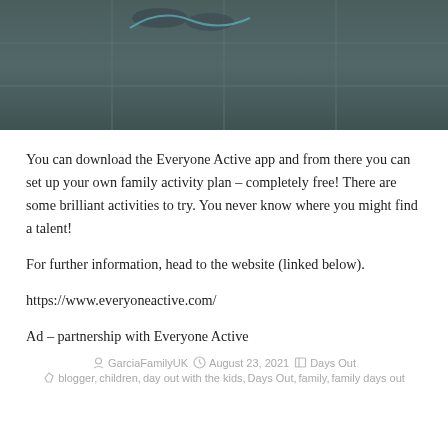[Figure (photo): Photo of dark tiled floor with shoes visible at top, dark slate-colored tiles with grid lines]
You can download the Everyone Active app and from there you can set up your own family activity plan – completely free! There are some brilliant activities to try. You never know where you might find a talent!
For further information, head to the website (linked below).
https://www.everyoneactive.com/
Ad – partnership with Everyone Active
GarciaFamilyUK · August 23, 2021 · Days Out · blogger, children, day out with the kids, Days Out, family, family days out